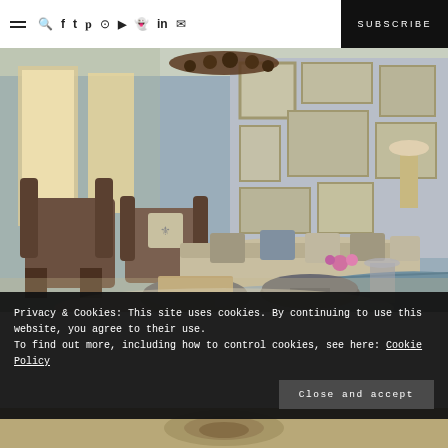≡ 🔍 f t p ⊕ ▶ 👻 in ✉  SUBSCRIBE
[Figure (photo): Interior design photo of an elegant living room with brown wingback chairs, teal ottoman, beige curved sofa, round metal coffee tables, decorative chandelier, and a gallery wall of mirrors in the background. Blue-gray walls with tall windows letting in natural light.]
Privacy & Cookies: This site uses cookies. By continuing to use this website, you agree to their use.
To find out more, including how to control cookies, see here: Cookie Policy
Close and accept
[Figure (photo): Partial view of the bottom of the page showing a decorative element or another room photo.]